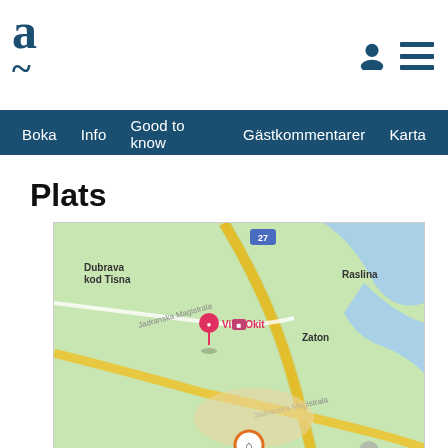Adriagate logo and navigation: Boka | Info | Good to know | Gästkommentarer | Karta
Plats
[Figure (map): Google Maps showing the location of Villa Okit near Zaton, Croatia. Map shows roads including Jadranska Magistrala, nearby places Dubrava kod Tisna, Raslina, Zaton, and a location pin for Villa Okit with a house marker at the bottom.]
Adriagate uses cookies to improve web page functionality. You agree with the terms by further use of our web page. Read more about cookies on:
Privacy Policy  Stäng